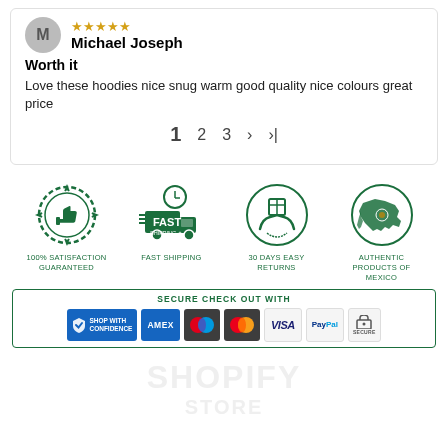Michael Joseph
Worth it
Love these hoodies nice snug warm good quality nice colours great price
1  2  3  ›  ›|
[Figure (infographic): Four trust badge icons: 100% Satisfaction Guaranteed (thumbs up medal), Fast Shipping (truck with clock), 30 Days Easy Returns (hands holding box), Authentic Products Of Mexico (map of Mexico). Below: Secure Check Out With payment logos including Shop With Confidence shield, AMEX, Maestro, Mastercard, VISA, PayPal, Secure SSL payment.]